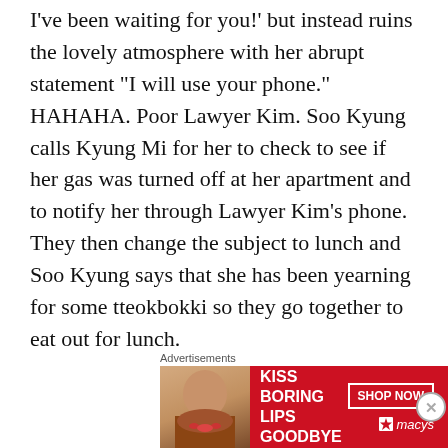I've been waiting for you!' but instead ruins the lovely atmosphere with her abrupt statement "I will use your phone." HAHAHA. Poor Lawyer Kim. Soo Kyung calls Kyung Mi for her to check to see if her gas was turned off at her apartment and to notify her through Lawyer Kim's phone. They then change the subject to lunch and Soo Kyung says that she has been yearning for some tteokbokki so they go together to eat out for lunch.
Meanwhile, Dae Young, Lawyer Oh, and Kyu-sik has just finished eating lunch. Dae Young asks to have some coffee with Lawyer Oh so she
[Figure (other): Advertisement banner: 'KISS BORING LIPS GOODBYE' with SHOP NOW button and Macy's star logo on red background, with a woman's face photo on the left side.]